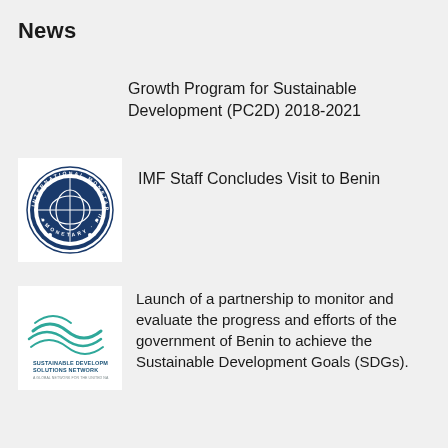News
Growth Program for Sustainable Development (PC2D) 2018-2021
[Figure (logo): International Monetary Fund (IMF) circular blue logo with globe and text around the border]
IMF Staff Concludes Visit to Benin
[Figure (logo): Sustainable Development Solutions Network (SDSN) logo with teal wave lines and text]
Launch of a partnership to monitor and evaluate the progress and efforts of the government of Benin to achieve the Sustainable Development Goals (SDGs).